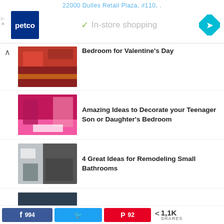22000 Dulles Retail Plaza, #110, .
[Figure (logo): Petco logo - dark blue square with white 'petco' text]
In-store shopping
[Figure (other): Blue diamond map/navigation icon with white arrow]
Bedroom for Valentine's Day
Amazing Ideas to Decorate your Teenager Son or Daughter's Bedroom
4 Great Ideas for Remodeling Small Bathrooms
How to get an Amazing Bedroom for your Comfort and Relaxation?
994  92  1,1K SHARES